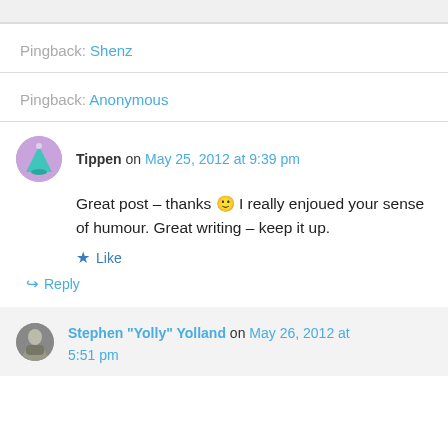Pingback: Shenz
Pingback: Anonymous
Tippen on May 25, 2012 at 9:39 pm
Great post – thanks 🙂 I really enjoued your sense of humour. Great writing – keep it up.
★ Like
↪ Reply
Stephen "Yolly" Yolland on May 26, 2012 at 5:51 pm